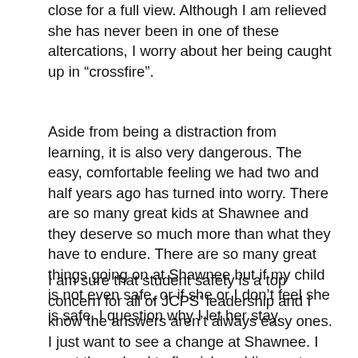close for a full view. Although I am relieved she has never been in one of these altercations, I worry about her being caught up in “crossfire”.
Aside from being a distraction from learning, it is also very dangerous. The easy, comfortable feeling we had two and half years ago has turned into worry. There are so many great kids at Shawnee and they deserve so much more than what they have to endure. There are so many great things going on at Shawnee but if my child is not even safe, or if she or I don’t feel she is safe, I question why I let her stay.
I am sure that student safety is a top concern for all of JCPS’ leadership and I know the answers aren’t always easy ones. I just want to see a change at Shawnee. I want the school to flourish and live up to the legacy it proudly holds and for each student to have the opportunity to succeed.